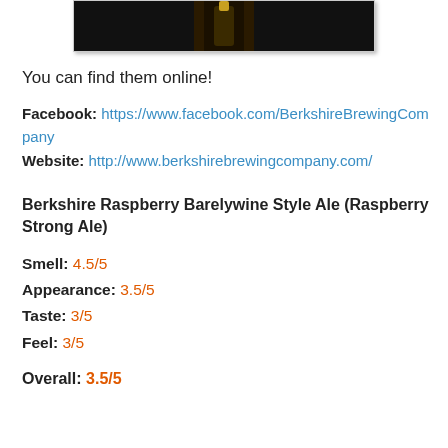[Figure (photo): Partial image of a dark beer bottle against a dark background, cropped at top of page]
You can find them online!
Facebook: https://www.facebook.com/BerkshireBrewingCompany
Website: http://www.berkshirebrewingcompany.com/
Berkshire Raspberry Barelywine Style Ale (Raspberry Strong Ale)
Smell: 4.5/5
Appearance: 3.5/5
Taste: 3/5
Feel: 3/5
Overall: 3.5/5